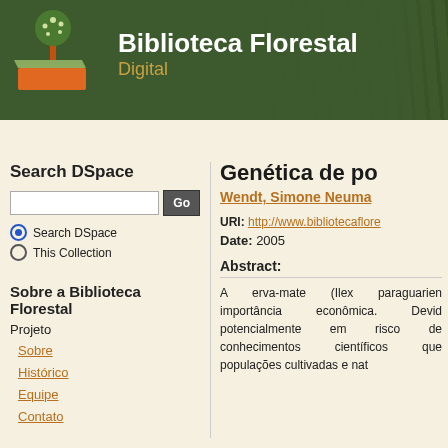[Figure (logo): Biblioteca Florestal Digital header with logo (orange book/tree icon) and forest background photo]
Biblioteca Florestal Digital
DSpace Home → Biblioteca Florestal Digital → Teses e Dissertações →
Search DSpace
Search DSpace (selected) / This Collection (radio buttons)
Sobre a Biblioteca Florestal
Projeto
Sobre
Histórico
Equipe
Contato
Genética de po
Wendt, Simone Neuma
URI: http://www.bibliotecaflore
Date: 2005
Abstract:
A erva-mate (Ilex paraguarien importância econômica. Devid potencialmente em risco de conhecimentos científicos que populações cultivadas e nat